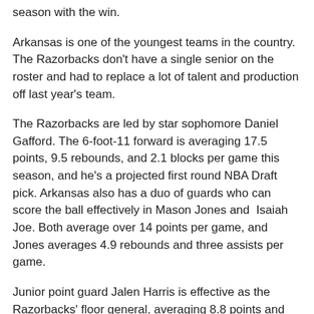season with the win.
Arkansas is one of the youngest teams in the country. The Razorbacks don't have a single senior on the roster and had to replace a lot of talent and production off last year's team.
The Razorbacks are led by star sophomore Daniel Gafford. The 6-foot-11 forward is averaging 17.5 points, 9.5 rebounds, and 2.1 blocks per game this season, and he's a projected first round NBA Draft pick. Arkansas also has a duo of guards who can score the ball effectively in Mason Jones and  Isaiah Joe. Both average over 14 points per game, and Jones averages 4.9 rebounds and three assists per game.
Junior point guard Jalen Harris is effective as the Razorbacks' floor general, averaging 8.8 points and 6.5 assists a contest while only turning the ball over an average of 1.5 times a game.
Arkansas averages 79.6 points per game and shoots 44.9 percent as a team, but their defense has been their weak point so far this season.
The Razorbacks are holding opponents to just a 39.3 percent